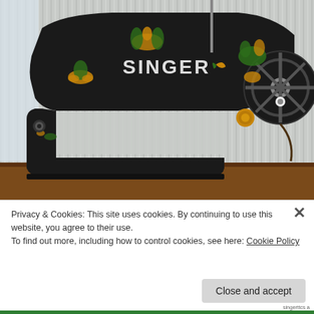[Figure (photo): Close-up photograph of a vintage black Singer sewing machine with decorative gold and green floral/thistle motifs painted on the body. The word SINGER is visible on the arm. The machine has a large hand wheel on the right side and sits on a wooden base. Background shows corrugated metal sheeting.]
Privacy & Cookies: This site uses cookies. By continuing to use this website, you agree to their use.
To find out more, including how to control cookies, see here: Cookie Policy
Close and accept